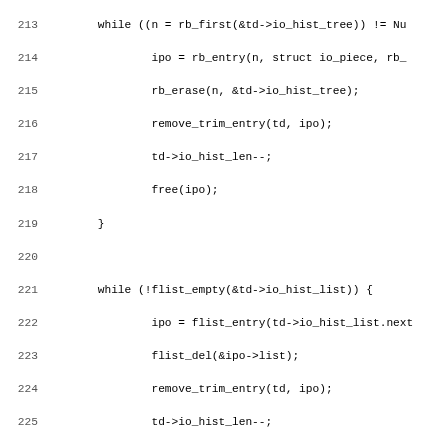[Figure (screenshot): Source code listing in monospace font showing C code lines 213-244, including while loops for rb_first/io_hist_tree and flist_empty/io_hist_list, closing braces, a comment block, and the beginning of void log_io_piece function with variable declarations and assignments.]